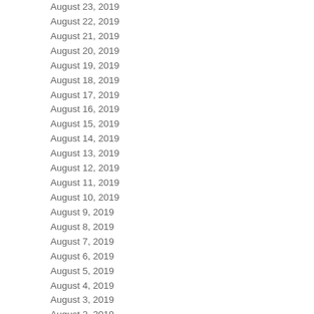| Date | Count |
| --- | --- |
| August 23, 2019 | 14 |
| August 22, 2019 | 20 |
| August 21, 2019 | 9 |
| August 20, 2019 | 2 |
| August 19, 2019 | 3 |
| August 18, 2019 | 6 |
| August 17, 2019 | 3 |
| August 16, 2019 | 3 |
| August 15, 2019 | 8 |
| August 14, 2019 | 4 |
| August 13, 2019 | 4 |
| August 12, 2019 | 5 |
| August 11, 2019 | 2 |
| August 10, 2019 | 1 |
| August 9, 2019 | 6 |
| August 8, 2019 | 2 |
| August 7, 2019 | 3 |
| August 6, 2019 | 9 |
| August 5, 2019 | 4 |
| August 4, 2019 | 1 |
| August 3, 2019 | 5 |
| August 2, 2019 | 3 |
| August 1, 2019 | 8 |
| July 31, 2019 |  |